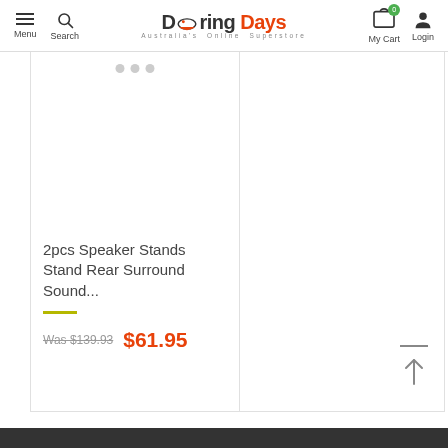Menu | Search | Doring Days Australia's Online Superstore | My Cart | Login
[Figure (screenshot): Blank product image area with three dots indicating image carousel]
2pcs Speaker Stands Stand Rear Surround Sound...
Was $139.93  $61.95